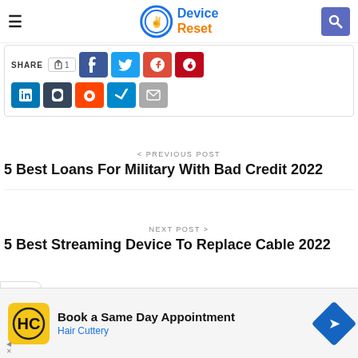Device Reset
[Figure (screenshot): Social share buttons row 1: SHARE label, count box, Facebook, Twitter, Google+, Pinterest buttons]
[Figure (screenshot): Social share buttons row 2: LinkedIn, Tumblr, Reddit, Telegram, Email buttons]
< PREVIOUS POST
5 Best Loans For Military With Bad Credit 2022
NEXT POST >
5 Best Streaming Device To Replace Cable 2022
[Figure (infographic): Advertisement: Hair Cuttery - Book a Same Day Appointment]